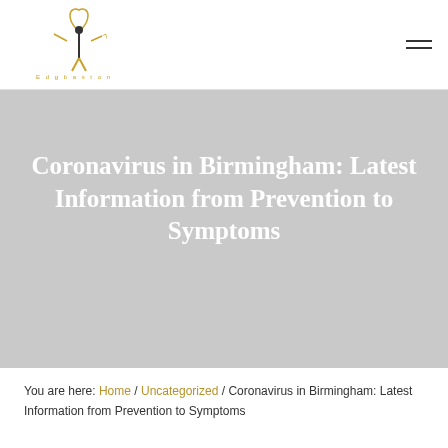[Figure (logo): Edgbaston Wellness & MediSpa logo with stylized figure and text]
Coronavirus in Birmingham: Latest Information from Prevention to Symptoms
You are here: Home / Uncategorized / Coronavirus in Birmingham: Latest Information from Prevention to Symptoms